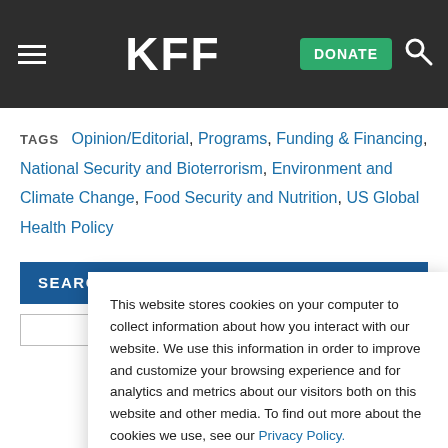KFF | DONATE
TAGS Opinion/Editorial, Programs, Funding & Financing, National Security and Bioterrorism, Environment and Climate Change, Food Security and Nutrition, US Global Health Policy
SEARCH NEWS SUMMARIES FOR:
This website stores cookies on your computer to collect information about how you interact with our website. We use this information in order to improve and customize your browsing experience and for analytics and metrics about our visitors both on this website and other media. To find out more about the cookies we use, see our Privacy Policy.
Accept